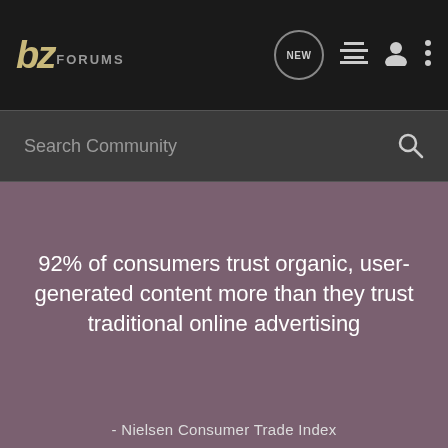bz FORUMS
Search Community
92% of consumers trust organic, user-generated content more than they trust traditional online advertising
- Nielsen Consumer Trade Index